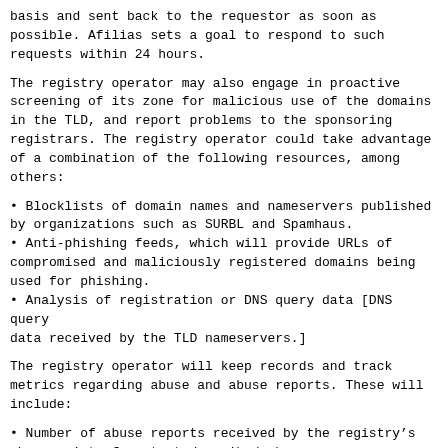basis and sent back to the requestor as soon as possible. Afilias sets a goal to respond to such requests within 24 hours.
The registry operator may also engage in proactive screening of its zone for malicious use of the domains in the TLD, and report problems to the sponsoring registrars. The registry operator could take advantage of a combination of the following resources, among others:
Blocklists of domain names and nameservers published by organizations such as SURBL and Spamhaus.
Anti-phishing feeds, which will provide URLs of compromised and maliciously registered domains being used for phishing.
Analysis of registration or DNS query data [DNS query data received by the TLD nameservers.]
The registry operator will keep records and track metrics regarding abuse and abuse reports. These will include:
Number of abuse reports received by the registry’s abuse point of contact described above;
Number of cases and domains referred to registrars for resolution;
Number of cases and domains where the registry took direct action;
Resolution times;
Number of domains in the TLD that have been blacklisted by major anti-spam blocklist providers